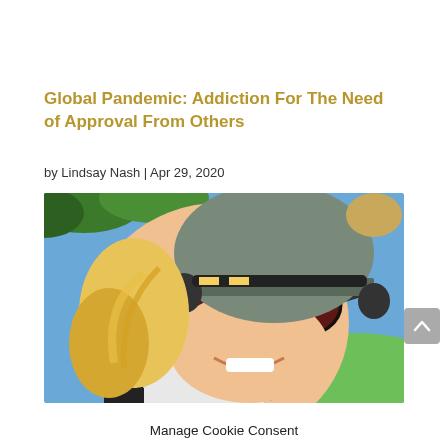Global Pandemic: Addiction For The Need of Approval From Others
by Lindsay Nash | Apr 29, 2020
[Figure (photo): Selfie of a smiling woman wearing large dark sunglasses and a grey knitted beanie hat, outdoors with green fields and blue sky in the background.]
Manage Cookie Consent